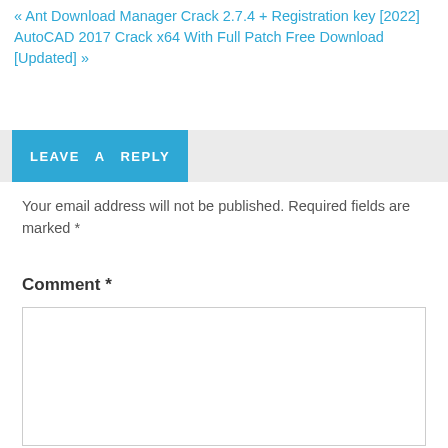« Ant Download Manager Crack 2.7.4 + Registration key [2022]
AutoCAD 2017 Crack x64 With Full Patch Free Download [Updated] »
LEAVE A REPLY
Your email address will not be published. Required fields are marked *
Comment *